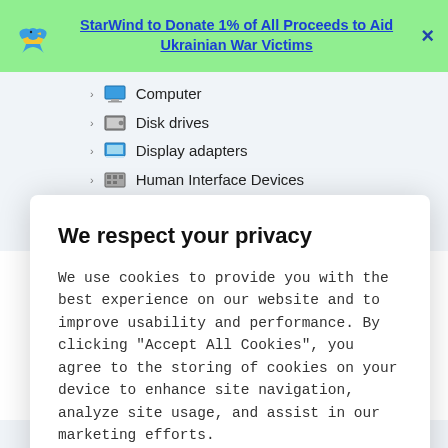[Figure (screenshot): Green banner with blue bird logo, bold blue underlined text 'StarWind to Donate 1% of All Proceeds to Aid Ukrainian War Victims', and an X close button]
Computer
Disk drives
Display adapters
Human Interface Devices
IDE ATA/ATAPI controllers
Keyboards
We respect your privacy
We use cookies to provide you with the best experience on our website and to improve usability and performance. By clicking “Accept All Cookies”, you agree to the storing of cookies on your device to enhance site navigation, analyze site usage, and assist in our marketing efforts.
Cookies Settings
Accept All Cookies
Persistent memory disk